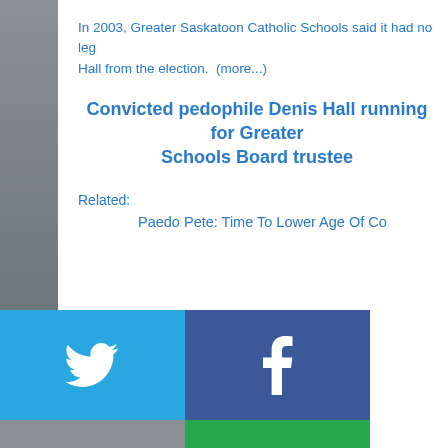In 2003, Greater Saskatoon Catholic Schools said it had no leg... Hall from the election.  (more...)
Convicted pedophile Denis Hall running for Greater... Schools Board trustee
Related:
Paedo Pete: Time To Lower Age Of Co...
[Figure (infographic): Social sharing buttons grid: Twitter (blue), Facebook (dark blue), Email (gray), WhatsApp (green), SMS (blue), other share (green)]